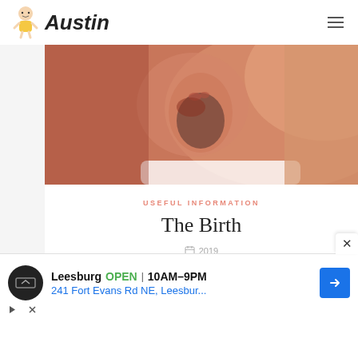Austin
[Figure (photo): Close-up photo of a crying newborn baby with mouth wide open, held against a person's chest/shoulder]
USEFUL INFORMATION
The Birth
2019
The Newborns: Parentingxitocin Testing for
[Figure (infographic): Advertisement banner: Leesburg OPEN 10AM-9PM, 241 Fort Evans Rd NE, Leesbur..., with logo circle, navigation arrow icon, play and close buttons]